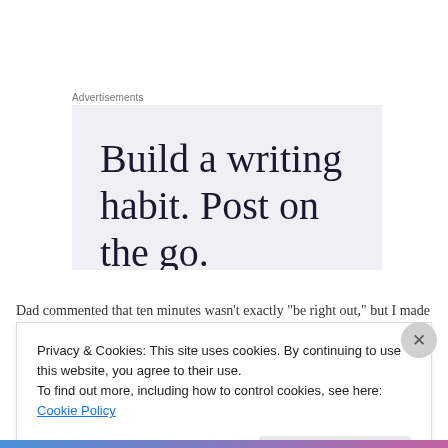Advertisements
[Figure (infographic): Advertisement box with light blue-grey background showing text: 'Build a writing habit. Post on the go.' with the last line partially cut off]
Dad commented that ten minutes wasn't exactly “be right out,” but I made the
Privacy & Cookies: This site uses cookies. By continuing to use this website, you agree to their use.
To find out more, including how to control cookies, see here: Cookie Policy
Close and accept